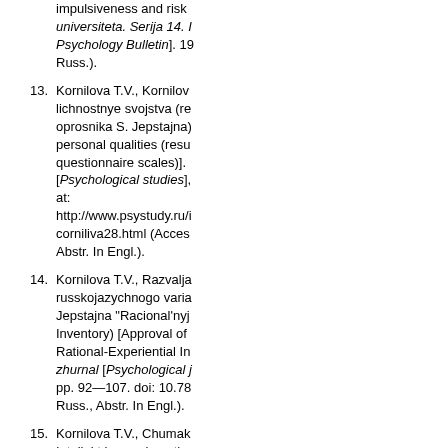impulsiveness and risk ... universiteta. Serija 14. ... Psychology Bulletin]. 19... Russ.).
13. Kornilova T.V., Kornilов... lichnostnye svojstva (re... oprosnika S. Jepstajna)... personal qualities (resu... questionnaire scales)]. ... [Psychological studies],... at: http://www.psystudy.ru/i... corniliva28.html (Acces... Abstr. In Engl.).
14. Kornilova T.V., Razvаlja... russkojazychnogo varia... Jepstajna "Racional'nyj... Inventory) [Approval of ... Rational-Experiential In... zhurnal [Psychological ... pp. 92—107. doi: 10.78... Russ., Abstr. In Engl.).
15. Kornilova T.V., Chumak... Intellekt i uspeshnost' s... vypolnenii Ajova-testa (... Successful Prognostic S... Task (IGT)]. Psihologija... jekonomiki [Psychology... of Economics]. 2018, V... doi:10.17323/1813-89...